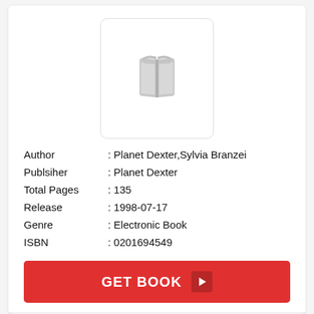[Figure (illustration): Gray placeholder book icon inside a rounded rectangle border]
| Author | : Planet Dexter,Sylvia Branzei |
| Publsiher | : Planet Dexter |
| Total Pages | : 135 |
| Release | : 1998-07-17 |
| Genre | : Electronic Book |
| ISBN | : 0201694549 |